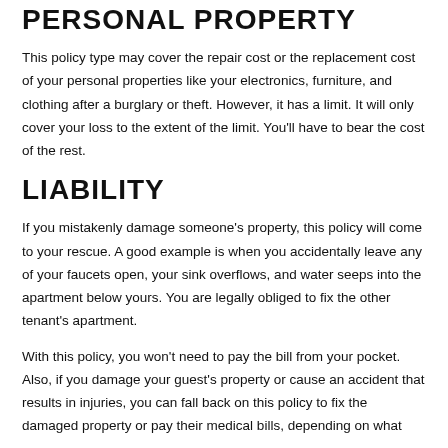PERSONAL PROPERTY
This policy type may cover the repair cost or the replacement cost of your personal properties like your electronics, furniture, and clothing after a burglary or theft. However, it has a limit. It will only cover your loss to the extent of the limit. You'll have to bear the cost of the rest.
LIABILITY
If you mistakenly damage someone's property, this policy will come to your rescue. A good example is when you accidentally leave any of your faucets open, your sink overflows, and water seeps into the apartment below yours. You are legally obliged to fix the other tenant's apartment.
With this policy, you won't need to pay the bill from your pocket. Also, if you damage your guest's property or cause an accident that results in injuries, you can fall back on this policy to fix the damaged property or pay their medical bills, depending on what